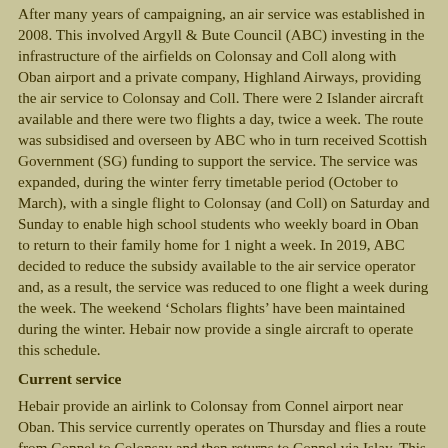After many years of campaigning, an air service was established in 2008. This involved Argyll & Bute Council (ABC) investing in the infrastructure of the airfields on Colonsay and Coll along with Oban airport and a private company, Highland Airways, providing the air service to Colonsay and Coll. There were 2 Islander aircraft available and there were two flights a day, twice a week. The route was subsidised and overseen by ABC who in turn received Scottish Government (SG) funding to support the service. The service was expanded, during the winter ferry timetable period (October to March), with a single flight to Colonsay (and Coll) on Saturday and Sunday to enable high school students who weekly board in Oban to return to their family home for 1 night a week. In 2019, ABC decided to reduce the subsidy available to the air service operator and, as a result, the service was reduced to one flight a week during the week. The weekend ‘Scholars flights’ have been maintained during the winter. Hebair now provide a single aircraft to operate this schedule.
Current service
Hebair provide an airlink to Colonsay from Connel airport near Oban. This service currently operates on Thursday and flies a route from Connel to Colonsay and then returns to Connel via Islay. This route is flown once in the morning and once in the afternoon subject to weather and the single Islander aircraft being serviceable. The aircraft can carry a maximum of 9 passengers